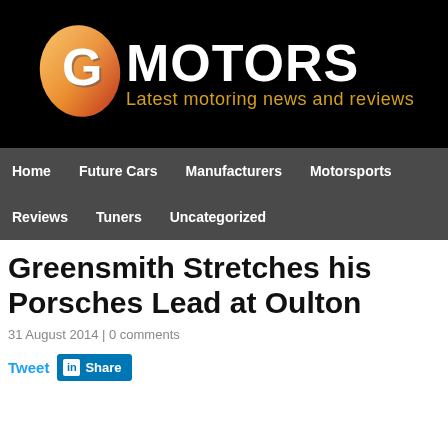[Figure (logo): G Motors logo on black background with tagline 'Latest motoring news and reviews']
Home  Future Cars  Manufacturers  Motorsports  Reviews  Tuners  Uncategorized
Greensmith Stretches his Porsches Lead at Oulton
31 August 2014 | 0 comments
Tweet  Share